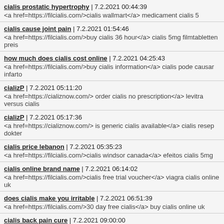cialis prostatic hypertrophy | 7.2.2021 00:44:39
<a href=https://filcialis.com/>cialis wallmart</a> medicament cialis 5
cialis cause joint pain | 7.2.2021 01:54:46
<a href=https://filcialis.com/>buy cialis 36 hour</a> cialis 5mg filmtabletten preis
how much does cialis cost online | 7.2.2021 04:25:43
<a href=https://filcialis.com/>buy cialis information</a> cialis pode causar infarto
cializP | 7.2.2021 05:11:20
<a href=https://cializnow.com/> order cialis no prescription</a> levitra versus cialis
cializP | 7.2.2021 05:17:36
<a href=https://cializnow.com/> is generic cialis available</a> cialis resep dokter
cialis price lebanon | 7.2.2021 05:35:23
<a href=https://filcialis.com/>cialis windsor canada</a> efeitos cialis 5mg
cialis online brand name | 7.2.2021 06:14:02
<a href=https://filcialis.com/>cialis free trial voucher</a> viagra cialis online uk
does cialis make you irritable | 7.2.2021 06:51:39
<a href=https://filcialis.com/>30 day free cialis</a> buy cialis online uk
cialis back pain cure | 7.2.2021 09:00:00
<a href=https://filcialis.com/>20mg cialis buy</a> does cialis expire